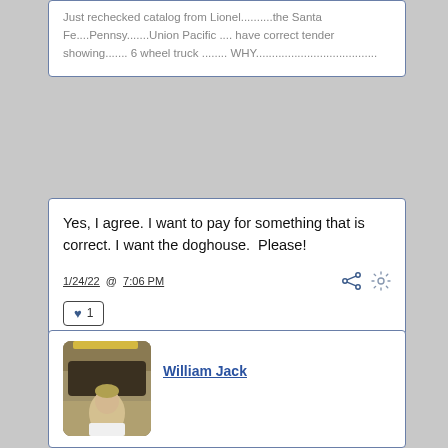Just rechecked catalog from Lionel..........the Santa Fe....Pennsy.......Union Pacific .... have correct tender showing....... 6 wheel truck ........ WHY......................................
Yes, I agree. I want to pay for something that is correct. I want the doghouse.  Please!
1/24/22  @  7:06 PM
♥  1
William Jack